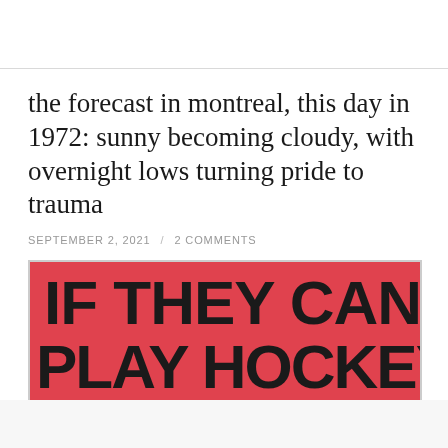the forecast in montreal, this day in 1972: sunny becoming cloudy, with overnight lows turning pride to trauma
SEPTEMBER 2, 2021 / 2 COMMENTS
[Figure (photo): Pink/red sign with large bold black text reading 'IF THEY CAN PLAY HOCKEY' (partially visible, bottom cut off)]